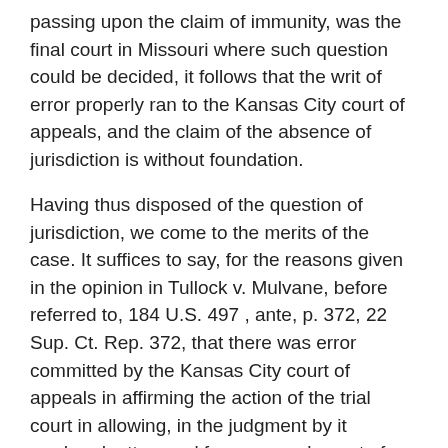passing upon the claim of immunity, was the final court in Missouri where such question could be decided, it follows that the writ of error properly ran to the Kansas City court of appeals, and the claim of the absence of jurisdiction is without foundation.
Having thus disposed of the question of jurisdiction, we come to the merits of the case. It suffices to say, for the reasons given in the opinion in Tullock v. Mulvane, before referred to, 184 U.S. 497 , ante, p. 372, 22 Sup. Ct. Rep. 372, that there was error committed by the Kansas City court of appeals in affirming the action of the trial court in allowing, in the judgment by it rendered, attorneys' fees as an element of damage upon the injunction bond contrary to the controlling rule on this subject enunciated by this court, by which the [184 U.S. 530, 540]  courts of the United States are governed in requiring the execution of such instruments.
The judgment of the Kansas City court of appeals must be